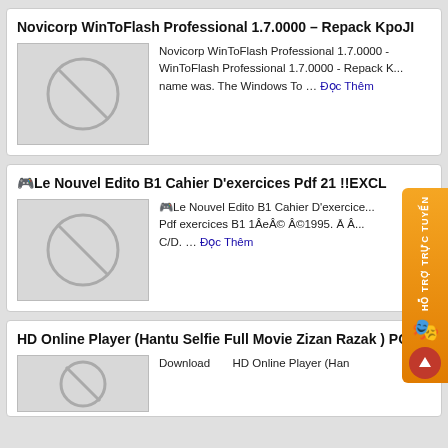Novicorp WinToFlash Professional 1.7.0000 – Repack KpoJIuK
[Figure (illustration): Placeholder image with a circle and diagonal line (no-image icon) on grey background]
Novicorp WinToFlash Professional 1.7.0000 - WinToFlash Professional 1.7.0000 - Repack K... name was. The Windows To … Đọc Thêm
🎮Le Nouvel Edito B1 Cahier D'exercices Pdf 21 !!EXCL
[Figure (illustration): Placeholder image with a circle and diagonal line (no-image icon) on grey background]
🎮Le Nouvel Edito B1 Cahier D'exercice... Pdf exercices B1 1ÂeÂ© Â©1995. Ā Â... C/D. … Đọc Thêm
HD Online Player (Hantu Selfie Full Movie Zizan Razak ) POR
[Figure (illustration): Placeholder image with a circle and diagonal line (no-image icon) on grey background]
Download     HD Online Player (Han